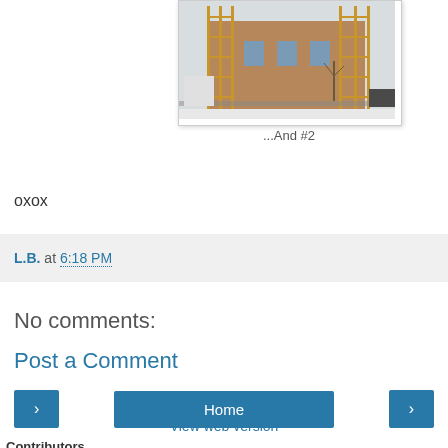[Figure (photo): Construction photo of a building with scaffolding, brick facade visible, winter trees and street scene in background]
...And #2
oxox
L.B. at 6:18 PM
No comments:
Post a Comment
< Home >
View web version
Contributors
Araignée